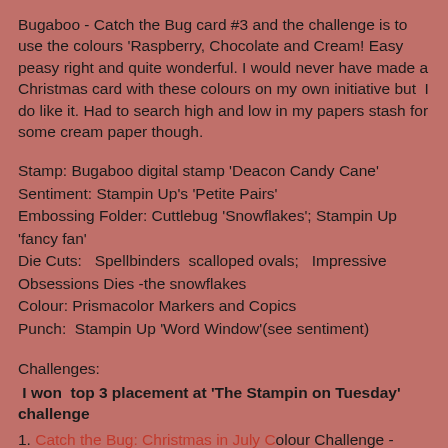Bugaboo - Catch the Bug card #3 and the challenge is to use the colours 'Raspberry, Chocolate and Cream! Easy peasy right and quite wonderful. I would never have made a Christmas card with these colours on my own initiative but I do like it. Had to search high and low in my papers stash for some cream paper though.
Stamp: Bugaboo digital stamp 'Deacon Candy Cane'
Sentiment: Stampin Up's 'Petite Pairs'
Embossing Folder: Cuttlebug 'Snowflakes'; Stampin Up 'fancy fan'
Die Cuts: Spellbinders scalloped ovals; Impressive Obsessions Dies -the snowflakes
Colour: Prismacolor Markers and Copics
Punch: Stampin Up 'Word Window'(see sentiment)
Challenges:
I won top 3 placement at 'The Stampin on Tuesday' challenge
1. Catch the Bug: Christmas in July Colour Challenge - Raspberry, Chocolate, Cream
2. Try Stampin on Tuesday Sketch #127 Sketch